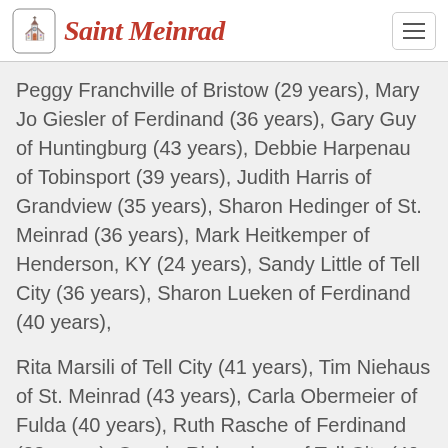Saint Meinrad
Peggy Franchville of Bristow (29 years), Mary Jo Giesler of Ferdinand (36 years), Gary Guy of Huntingburg (43 years), Debbie Harpenau of Tobinsport (39 years), Judith Harris of Grandview (35 years), Sharon Hedinger of St. Meinrad (36 years), Mark Heitkemper of Henderson, KY (24 years), Sandy Little of Tell City (36 years), Sharon Lueken of Ferdinand (40 years),
Rita Marsili of Tell City (41 years), Tim Niehaus of St. Meinrad (43 years), Carla Obermeier of Fulda (40 years), Ruth Rasche of Ferdinand (38 years), Connie Richardson of Tell City (40 years), Tracy Schaefer of Ferdinand (39 years), Mark Schatz of